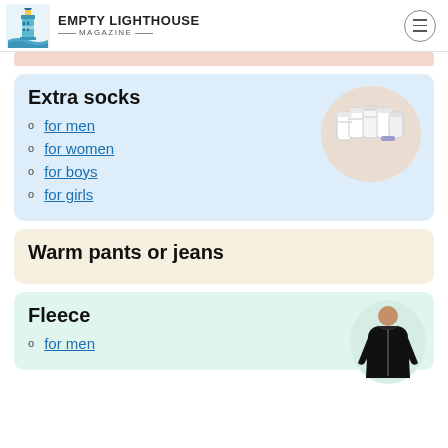EMPTY LIGHTHOUSE MAGAZINE
Extra socks
for men
for women
for boys
for girls
[Figure (photo): Bundle of white ankle socks]
Warm pants or jeans
Fleece
for men
[Figure (photo): Person wearing black fleece jacket]